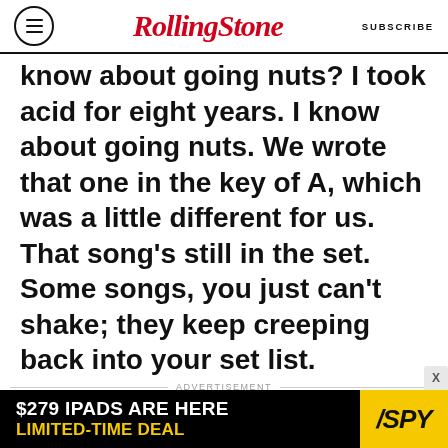RollingStone | SUBSCRIBE
know about going nuts? I took acid for eight years. I know about going nuts. We wrote that one in the key of A, which was a little different for us. That song’s still in the set. Some songs, you just can’t shake; they keep creeping back into your set list.
ADVERTISEMENT
[Figure (photo): Advertisement image showing a bag/backpack product on a light blue-grey background]
[Figure (infographic): Bottom banner advertisement: $279 IPADS ARE HERE LIMITED-TIME DEAL with SPY logo]